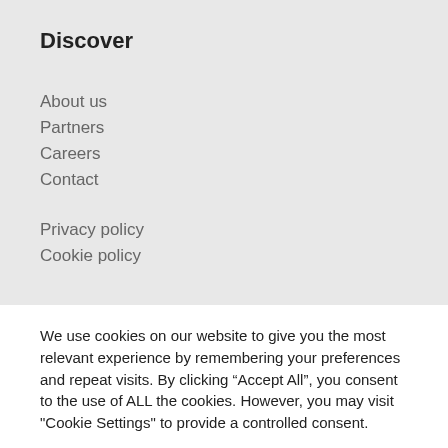Discover
About us
Partners
Careers
Contact
Privacy policy
Cookie policy
We use cookies on our website to give you the most relevant experience by remembering your preferences and repeat visits. By clicking “Accept All”, you consent to the use of ALL the cookies. However, you may visit "Cookie Settings" to provide a controlled consent.
Cookie Settings
Accept All